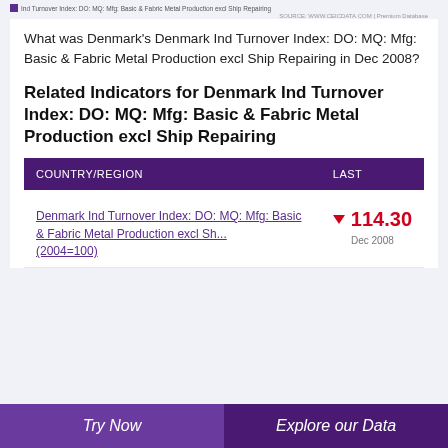Ind Turnover Index: DO: MQ: Mfg: Basic & Fabric Metal Production excl Ship Repairing | SOURCE: WWW.CEICDATA.COM | Premium Database
What was Denmark's Denmark Ind Turnover Index: DO: MQ: Mfg: Basic & Fabric Metal Production excl Ship Repairing in Dec 2008?
Related Indicators for Denmark Ind Turnover Index: DO: MQ: Mfg: Basic & Fabric Metal Production excl Ship Repairing
| COUNTRY/REGION | LAST |
| --- | --- |
| Denmark Ind Turnover Index: DO: MQ: Mfg: Basic & Fabric Metal Production excl Sh... (2004=100) | ▼ 114.30
Dec 2008 |
Try Now | Explore our Data